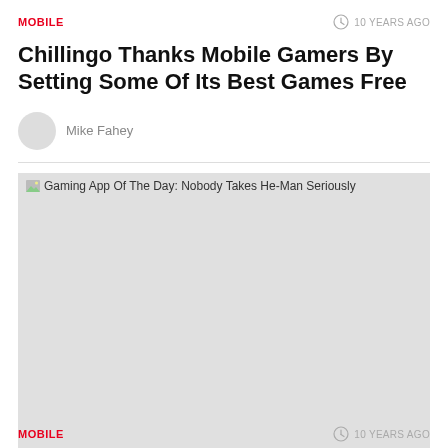MOBILE   10 YEARS AGO
Chillingo Thanks Mobile Gamers By Setting Some Of Its Best Games Free
Mike Fahey
[Figure (photo): Placeholder image with alt text: Gaming App Of The Day: Nobody Takes He-Man Seriously]
MOBILE   10 YEARS AGO